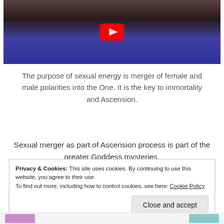[Figure (screenshot): YouTube video thumbnail showing a belly dancer in blue costume with ornate belt, with a YouTube play button overlay]
The purpose of sexual energy is merger of female and male polarities into the One. It is the key to immortality and Ascension.
Sexual merger as part of Ascension process is part of the greater Goddess mysteries.
Privacy & Cookies: This site uses cookies. By continuing to use this website, you agree to their use.
To find out more, including how to control cookies, see here: Cookie Policy
Close and accept